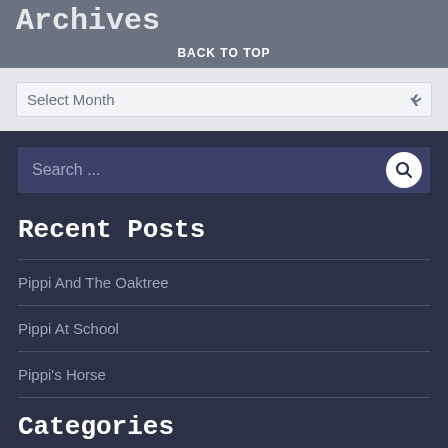Archives
BACK TO TOP
Select Month
Search ...
Recent Posts
Pippi And The Oaktree
Pippi At School
Pippi's Horse
Categories